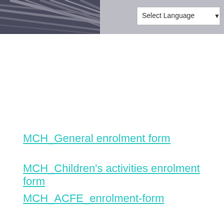[Figure (photo): Header banner photo showing a building exterior with geometric patterns, partially visible with a 'Select Language' dropdown in the upper right corner]
MCH_General enrolment form
MCH_Children's activities enrolment form
MCH_ACFE_enrolment-form
Enrolment Forms are required before commencing an activity at the house. There are three enrolment forms available – click on the above links to view or download a form. If you are not sure which enrolment form to complete,